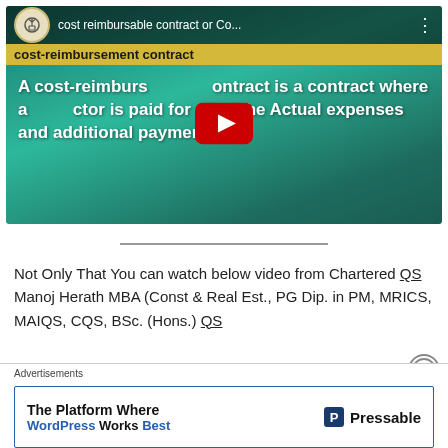[Figure (screenshot): YouTube video thumbnail showing a cost-reimbursement contract definition with text overlay on a teal mountain background. Top bar shows channel logo and title 'cost reimbursable contract or Co...' with a yellow subtitle bar reading 'cost-reimbursement contract'. Main text reads 'A cost-reimburs[ement] contract is a contract where a[n] ctor is paid for all of the Actual expenses and additional payment a'. A red YouTube play button is centered over the image.]
Not Only That You can watch below video from Chartered QS Manoj Herath MBA (Const & Real Est., PG Dip. in PM, MRICS, MAIQS, CQS, BSc. (Hons.) QS
Advertisements
[Figure (screenshot): Advertisement banner for Pressable: 'The Platform Where WordPress Works Best' with Pressable logo on the right.]